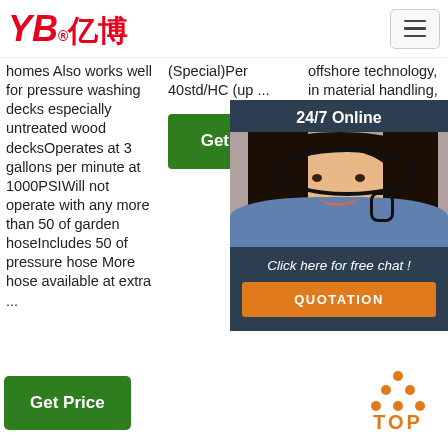[Figure (logo): YB亿博 company logo in red with registered trademark symbol]
[Figure (other): Hamburger menu icon (three horizontal lines) in a bordered button]
homes Also works well for pressure washing decks especially untreated wood decksOperates at 3 gallons per minute at 1000PSIWill not operate with any more than 50 of garden hoseIncludes 50 of pressure hose More hose available at extra ...
(Special)Per 40std/HC (up ...
offshore technology, in material handling, large... iron... and... trad...
[Figure (other): Get Price green button (middle column)]
[Figure (other): 24/7 Online chat widget overlay with photo of woman with headset, Click here for free chat text, and QUOTATION button]
[Figure (other): Get Price green button (left column bottom)]
[Figure (other): TOP button with orange dot triangle logo and orange TOP text]